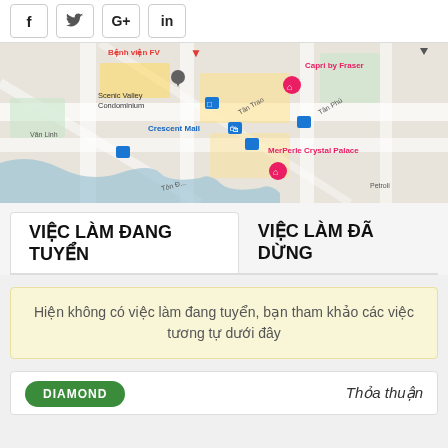[Figure (other): Social share buttons: Facebook (f), Twitter (bird), Google+ (G+), LinkedIn (in)]
[Figure (map): Google Maps screenshot showing district area in Ho Chi Minh City with landmarks: Benh vien FV, Capri by Fraser, MerPerle Crystal Palace, Crescent Mall, Scenic Valley Condominium, Van Linh street, Ton Duc Thang street, Tan Trao street]
VIỆC LÀM ĐANG TUYỂN
VIỆC LÀM ĐÃ DỪNG
Hiện không có việc làm đang tuyển, bạn tham khảo các việc tương tự dưới đây
DIAMOND
Thỏa thuận